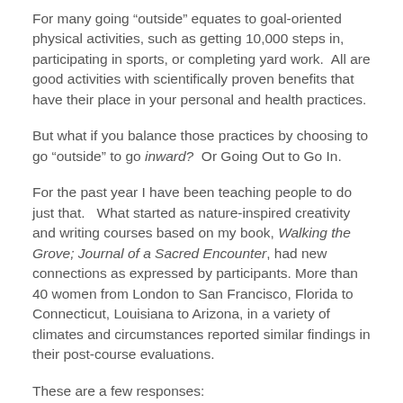For many going “outside” equates to goal-oriented physical activities, such as getting 10,000 steps in, participating in sports, or completing yard work.  All are good activities with scientifically proven benefits that have their place in your personal and health practices.
But what if you balance those practices by choosing to go “outside” to go inward?  Or Going Out to Go In.
For the past year I have been teaching people to do just that.   What started as nature-inspired creativity and writing courses based on my book, Walking the Grove; Journal of a Sacred Encounter, had new connections as expressed by participants. More than 40 women from London to San Francisco, Florida to Connecticut, Louisiana to Arizona, in a variety of climates and circumstances reported similar findings in their post-course evaluations.
These are a few responses: